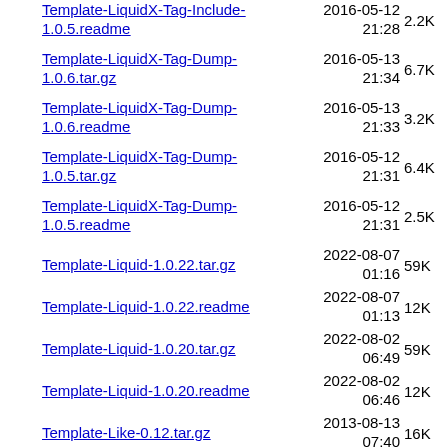Template-LiquidX-Tag-Include-1.0.5.readme  2016-05-12 21:28  2.2K
Template-LiquidX-Tag-Dump-1.0.6.tar.gz  2016-05-13 21:34  6.7K
Template-LiquidX-Tag-Dump-1.0.6.readme  2016-05-13 21:33  3.2K
Template-LiquidX-Tag-Dump-1.0.5.tar.gz  2016-05-12 21:31  6.4K
Template-LiquidX-Tag-Dump-1.0.5.readme  2016-05-12 21:31  2.5K
Template-Liquid-1.0.22.tar.gz  2022-08-07 01:16  59K
Template-Liquid-1.0.22.readme  2022-08-07 01:13  12K
Template-Liquid-1.0.20.tar.gz  2022-08-02 06:49  59K
Template-Liquid-1.0.20.readme  2022-08-02 06:46  12K
Template-Like-0.12.tar.gz  2013-08-13 07:40  16K
Template-Like-0.12.readme  2008-01-24 15:38  469
Template-Lace-0.017.tar.gz  2017-12-05  57K